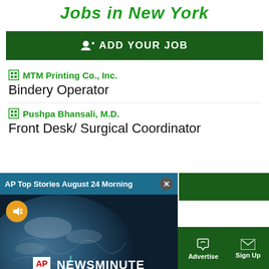Jobs in New York
ADD YOUR JOB
MTM Printing Co., Inc. — Bindery Operator
Pushpa Bhansali, M.D. — Front Desk/ Surgical Coordinator
[Figure (screenshot): AP Top Stories August 24 Morning video player overlay showing AP NEWSMINUTE with earth background, mute button, and close button]
Sections | NY Edition | Philly | Games | Advertise | Sign Up